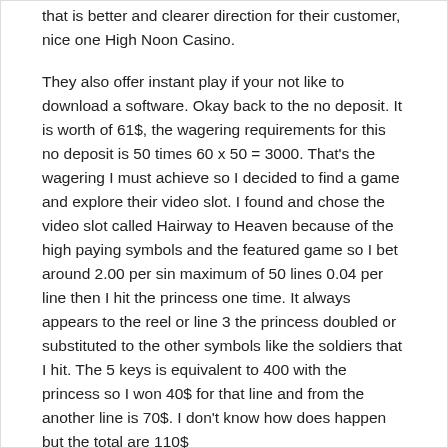that is better and clearer direction for their customer, nice one High Noon Casino.
They also offer instant play if your not like to download a software. Okay back to the no deposit. It is worth of 61$, the wagering requirements for this no deposit is 50 times 60 x 50 = 3000. That's the wagering I must achieve so I decided to find a game and explore their video slot. I found and chose the video slot called Hairway to Heaven because of the high paying symbols and the featured game so I bet around 2.00 per sin maximum of 50 lines 0.04 per line then I hit the princess one time. It always appears to the reel or line 3 the princess doubled or substituted to the other symbols like the soldiers that I hit. The 5 keys is equivalent to 400 with the princess so I won 40$ for that line and from the another line is 70$. I don't know how does happen but the total are 110$